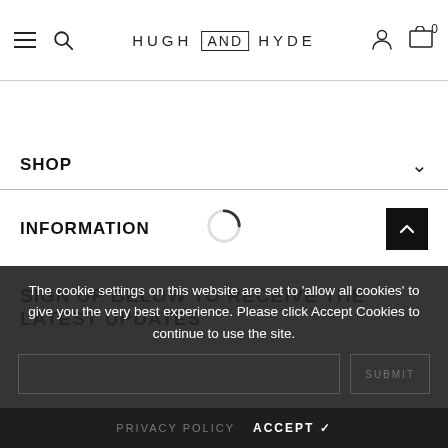HUGH and HYDE — Navigation bar with hamburger menu, search, logo, account icon, and cart (0)
SHOP
INFORMATION
[Figure (other): Loading spinner (circular arc indicator)]
SIGN UP BELOW TO RECEIVE THE LATEST UPDATES
The cookie settings on this website are set to 'allow all cookies' to give you the very best experience. Please click Accept Cookies to continue to use the site.
PRIVACY POLICY   ACCEPT ✔